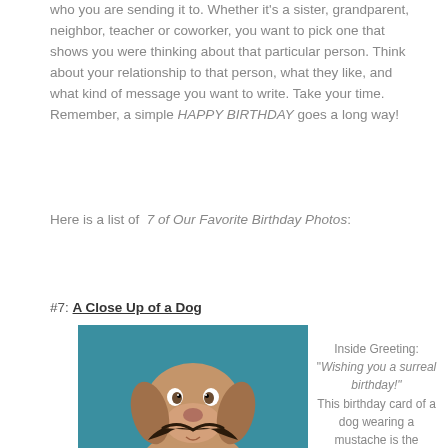who you are sending it to. Whether it's a sister, grandparent, neighbor, teacher or coworker, you want to pick one that shows you were thinking about that particular person. Think about your relationship to that person, what they like, and what kind of message you want to write. Take your time. Remember, a simple HAPPY BIRTHDAY goes a long way!
Here is a list of 7 of Our Favorite Birthday Photos:
#7: A Close Up of a Dog
[Figure (photo): A close-up photo of a dog (dachshund) with a fake mustache against a teal/blue background, looking upward with a humorous expression.]
Inside Greeting: "Wishing you a surreal birthday!"
This birthday card of a dog wearing a mustache is the perfect combination of adorable and funny. Dog